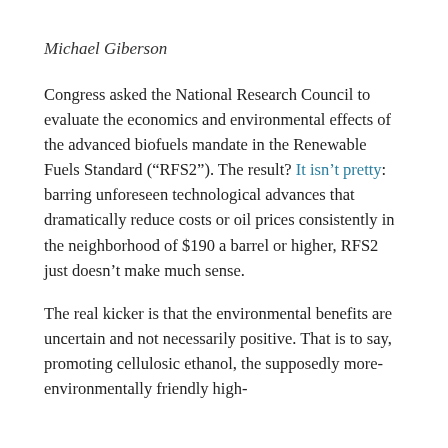Michael Giberson
Congress asked the National Research Council to evaluate the economics and environmental effects of the advanced biofuels mandate in the Renewable Fuels Standard (“RFS2”). The result? It isn’t pretty: barring unforeseen technological advances that dramatically reduce costs or oil prices consistently in the neighborhood of $190 a barrel or higher, RFS2 just doesn’t make much sense.
The real kicker is that the environmental benefits are uncertain and not necessarily positive. That is to say, promoting cellulosic ethanol, the supposedly more-environmentally friendly high-